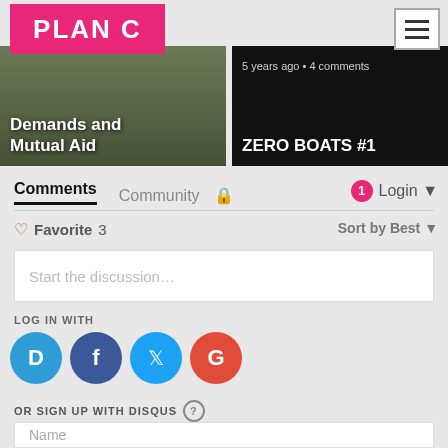[Figure (logo): Plan C pink/magenta logo with white bold text]
[Figure (screenshot): Navigation hamburger menu icon, top-right corner]
[Figure (photo): Article card: image with text 'Demands and Mutual Aid' overlaid]
[Figure (screenshot): Article card dark background: '5 years ago • 4 comments' and 'ZERO BOATS #1']
Comments  Community  🔒
1  Login ▾
♡  Favorite  3
Sort by Best ▾
Start the discussion…
LOG IN WITH
OR SIGN UP WITH DISQUS  ?
Name